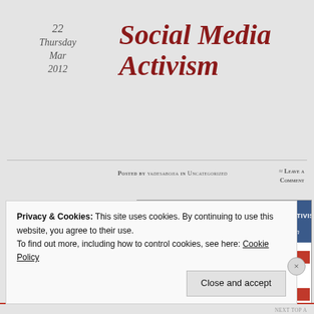22 Thursday Mar 2012
Social Media Activism
Posted by yadesabojia in Uncategorized
≈ Leave a Comment
[Figure (screenshot): Screenshot of a social media activism page featuring Treyvon Martin, showing a blue header with 'SOCIAL MEDIA ACTIVISM' text and 'Treyvon Martin' subtitle, with multiple Facebook profile photos and images arranged in a grid.]
Tags
ww., www.facebook.com/ya
Privacy & Cookies: This site uses cookies. By continuing to use this website, you agree to their use.
To find out more, including how to control cookies, see here: Cookie Policy
Close and accept
NEXT TOP A